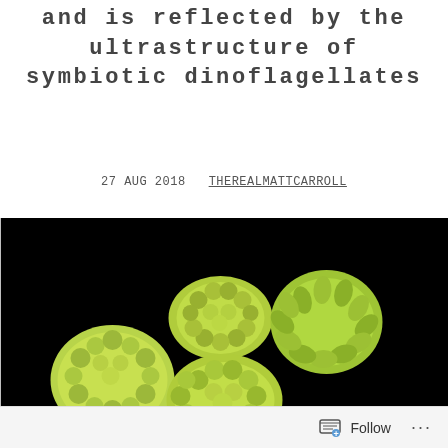and is reflected by the ultrastructure of symbiotic dinoflagellates
27 AUG 2018   THEREALMATTCARROLL
[Figure (photo): Photograph of five green coral polyp specimens against a black background, showing lumpy textured surfaces with finger-like projections, with a scale bar partially visible at the bottom right.]